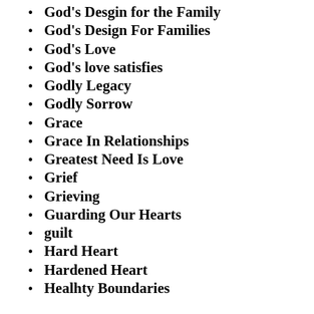God's Desgin for the Family
God's Design For Families
God's Love
God's love satisfies
Godly Legacy
Godly Sorrow
Grace
Grace In Relationships
Greatest Need Is Love
Grief
Grieving
Guarding Our Hearts
guilt
Hard Heart
Hardened Heart
Healhty Boundaries